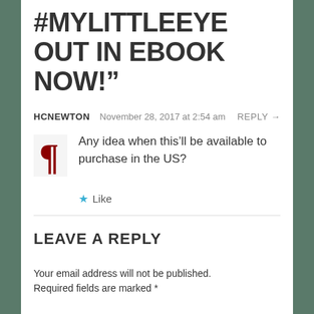#MYLITTLEEYE OUT IN EBOOK NOW!”
HCNEWTON   November 28, 2017 at 2:54 am   REPLY →
Any idea when this’ll be available to purchase in the US?
★ Like
LEAVE A REPLY
Your email address will not be published. Required fields are marked *